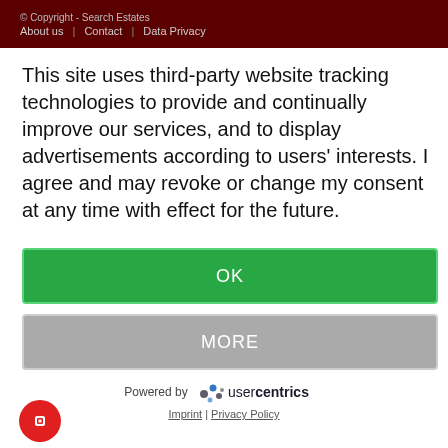© Copyright - Search Estates
About us | Contact | Data Privacy
This site uses third-party website tracking technologies to provide and continually improve our services, and to display advertisements according to users' interests. I agree and may revoke or change my consent at any time with effect for the future.
OK
MORE
Powered by usercentrics
Imprint | Privacy Policy